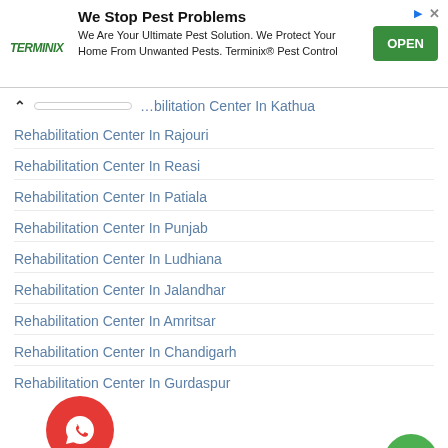[Figure (infographic): Terminix advertisement banner with logo, headline 'We Stop Pest Problems', body text, and green OPEN button]
...abilitation Center In Kathua
Rehabilitation Center In Rajouri
Rehabilitation Center In Reasi
Rehabilitation Center In Patiala
Rehabilitation Center In Punjab
Rehabilitation Center In Ludhiana
Rehabilitation Center In Jalandhar
Rehabilitation Center In Amritsar
Rehabilitation Center In Chandigarh
Rehabilitation Center In Gurdaspur